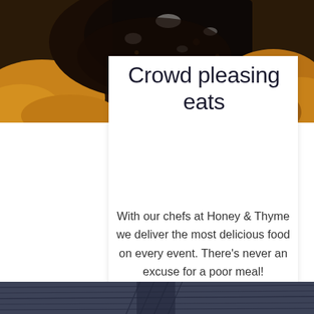[Figure (photo): Close-up photo of dark baked food (appears to be a pie or tart with dark filling), golden pastry crust visible, occupying top portion of page]
Crowd pleasing eats
With our chefs at Honey & Thyme we deliver the most delicious food on every event. There's never an excuse for a poor meal!
[Figure (photo): Dark bluish-grey wooden texture or surface visible at bottom of page]